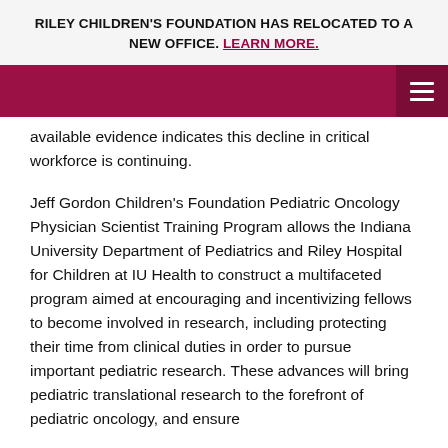RILEY CHILDREN'S FOUNDATION HAS RELOCATED TO A NEW OFFICE. LEARN MORE.
available evidence indicates this decline in critical workforce is continuing.
Jeff Gordon Children's Foundation Pediatric Oncology Physician Scientist Training Program allows the Indiana University Department of Pediatrics and Riley Hospital for Children at IU Health to construct a multifaceted program aimed at encouraging and incentivizing fellows to become involved in research, including protecting their time from clinical duties in order to pursue important pediatric research. These advances will bring pediatric translational research to the forefront of pediatric oncology, and ensure children with cancer in Indiana and beyond receive the